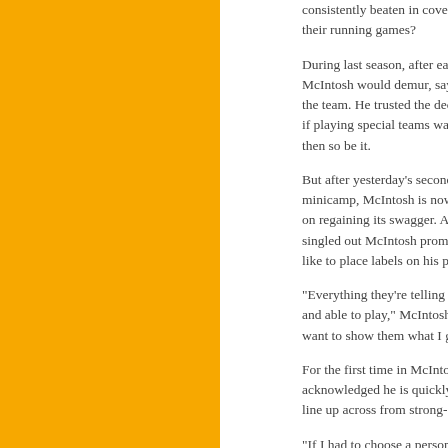consistently beaten in coverage, what does that say about their running games?
During last season, after each game, McIntosh would demur, saying he was doing what was best for the team. He trusted the decisions being made. And if playing special teams was what the coaches felt best, then so be it.
But after yesterday's second day of the team's minicamp, McIntosh is now a defense that is focused on regaining its swagger. Assistant head coach singled out McIntosh prominently, though he doesn't like to place labels on his players.
"Everything they're telling me is that I'm healthy and able to play," McIntosh said. "And I just want to show them what I got."
For the first time in McIntosh's career, he acknowledged he is quickly getting the chance to line up across from strong-side
"If I had to choose a person to replace Jason Campbell, it's Rocky," William said. "He comes in and every single day of the w